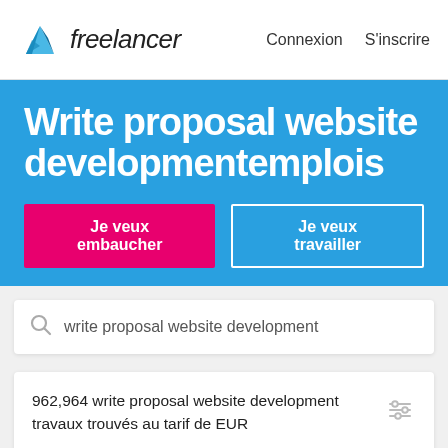[Figure (logo): Freelancer logo with cyan/blue origami bird icon and italic 'freelancer' wordmark in dark text]
Connexion  S'inscrire
Write proposal website developmentemplois
Je veux embaucher
Je veux travailler
write proposal website development
962,964 write proposal website development travaux trouvés au tarif de EUR